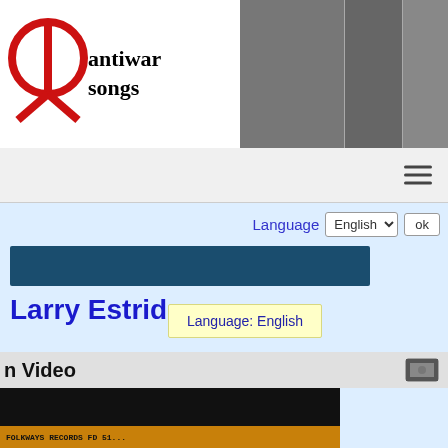[Figure (logo): Antiwar songs logo with peace symbol and header photo strip of protest-era figures]
antiwar songs
Language  English  ok
[Figure (other): Dark teal/navy banner bar]
Larry Estridge
Language: English
n Video
[Figure (photo): Video thumbnail showing a dark image with Folkways Records text at bottom]